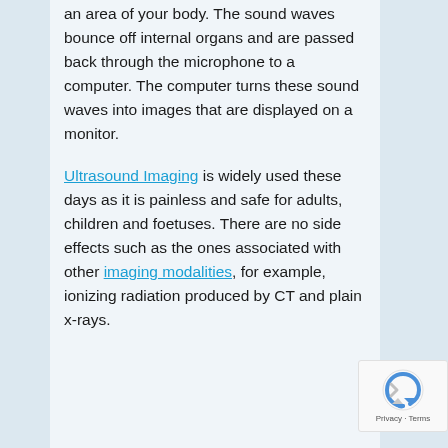an area of your body. The sound waves bounce off internal organs and are passed back through the microphone to a computer. The computer turns these sound waves into images that are displayed on a monitor.
Ultrasound Imaging is widely used these days as it is painless and safe for adults, children and foetuses. There are no side effects such as the ones associated with other imaging modalities, for example, ionizing radiation produced by CT and plain x-rays.